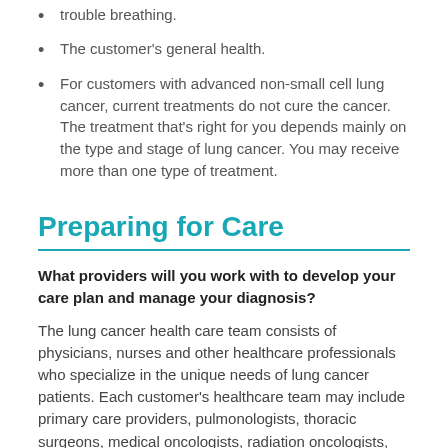trouble breathing.
The customer's general health.
For customers with advanced non-small cell lung cancer, current treatments do not cure the cancer. The treatment that's right for you depends mainly on the type and stage of lung cancer. You may receive more than one type of treatment.
Preparing for Care
What providers will you work with to develop your care plan and manage your diagnosis?
The lung cancer health care team consists of physicians, nurses and other healthcare professionals who specialize in the unique needs of lung cancer patients. Each customer's healthcare team may include primary care providers, pulmonologists, thoracic surgeons, medical oncologists, radiation oncologists, pathologists, palliative care specialists, and other healthcare providers.